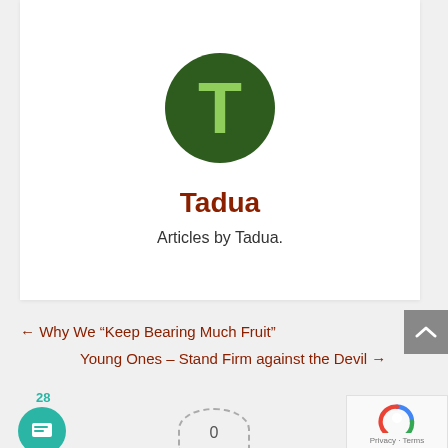[Figure (logo): Dark green circle with a light green letter T in the center — Tadua author logo]
Tadua
Articles by Tadua.
← Why We “Keep Bearing Much Fruit”
Young Ones – Stand Firm against the Devil →
[Figure (other): Gray scroll-to-top button with upward chevron icon]
[Figure (other): Teal chat icon with badge showing 28]
[Figure (other): reCAPTCHA widget — Privacy · Terms]
[Figure (other): Dashed half-circle with a 0 inside, partially visible at bottom]